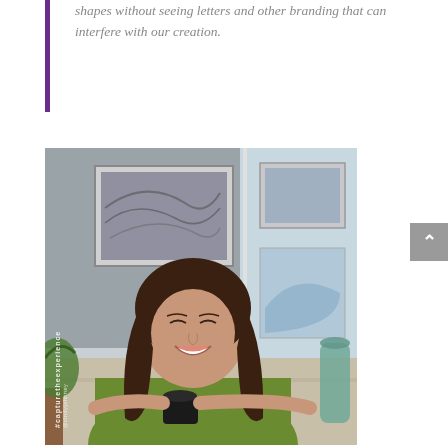shapes without seeing letters and other branding that can interfere with our creation.
[Figure (photo): A smiling woman with long dark hair wearing a green sweater, sitting at a table holding a dark mug/cup, in a bright room with framed artwork on the wall behind her. Watermark text '#capturetheexperience' visible on the left side of the image.]